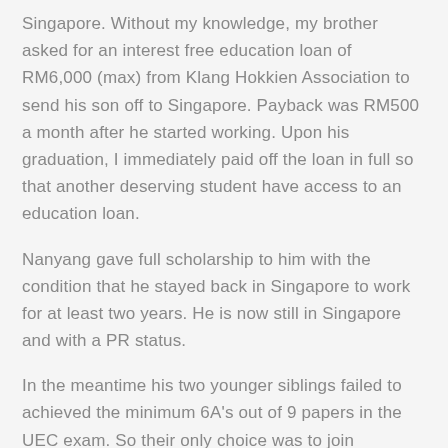Singapore. Without my knowledge, my brother asked for an interest free education loan of RM6,000 (max) from Klang Hokkien Association to send his son off to Singapore. Payback was RM500 a month after he started working. Upon his graduation, I immediately paid off the loan in full so that another deserving student have access to an education loan.
Nanyang gave full scholarship to him with the condition that he stayed back in Singapore to work for at least two years. He is now still in Singapore and with a PR status.
In the meantime his two younger siblings failed to achieved the minimum 6A's out of 9 papers in the UEC exam. So their only choice was to join